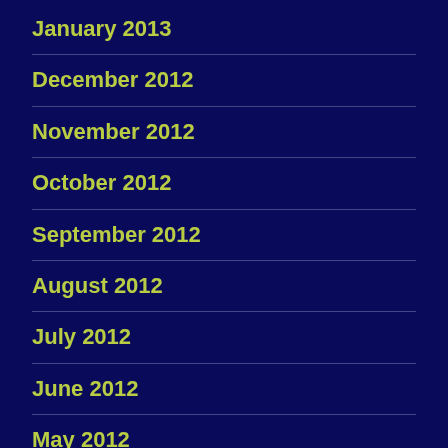January 2013
December 2012
November 2012
October 2012
September 2012
August 2012
July 2012
June 2012
May 2012
April 2012
January 1970